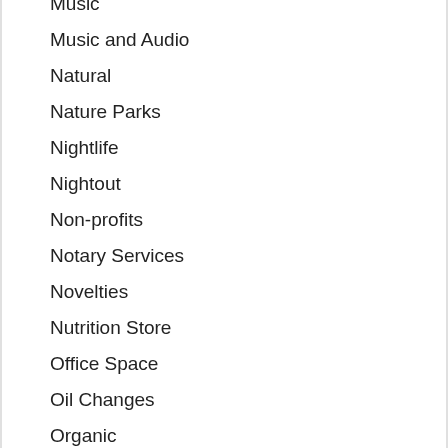Music
Music and Audio
Natural
Nature Parks
Nightlife
Nightout
Non-profits
Notary Services
Novelties
Nutrition Store
Office Space
Oil Changes
Organic
Orthodontists
Outdoor
Painting